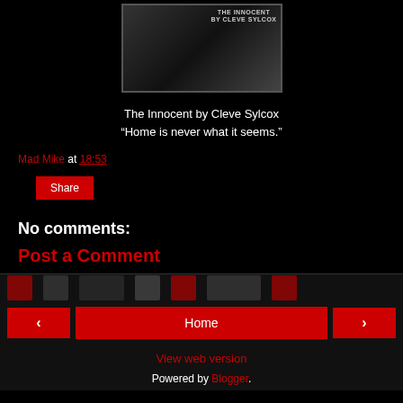[Figure (photo): Book cover image for 'The Innocent by Cleve Sylcox' shown in grayscale]
The Innocent by Cleve Sylcox
“Home is never what it seems.”
Mad Mike at 18:53
Share
No comments:
Post a Comment
Home | View web version | Powered by Blogger.